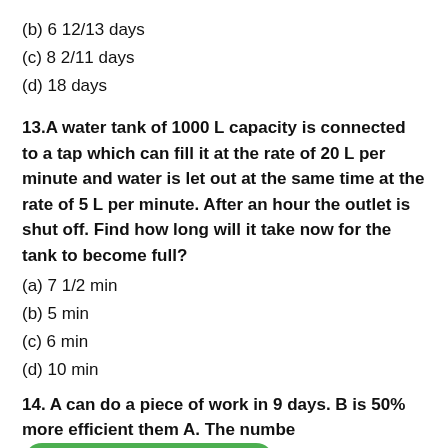(b) 6 12/13 days
(c) 8 2/11 days
(d) 18 days
13.A water tank of 1000 L capacity is connected to a tap which can fill it at the rate of 20 L per minute and water is let out at the same time at the rate of 5 L per minute. After an hour the outlet is shut off. Find how long will it take now for the tank to become full?
(a) 7 1/2 min
(b) 5 min
(c) 6 min
(d) 10 min
14. A can do a piece of work in 9 days. B is 50% more efficient them A. The number [Chat with us on WhatsApp] the same piece of work is